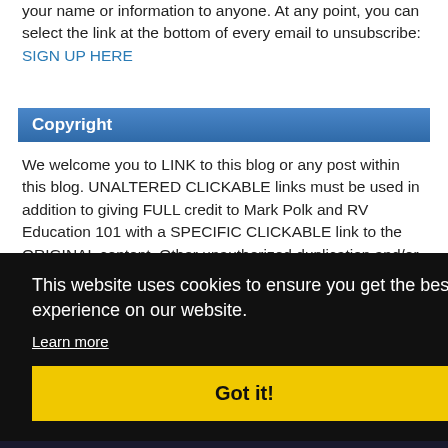your name or information to anyone. At any point, you can select the link at the bottom of every email to unsubscribe: SIGN UP HERE
Copyright
We welcome you to LINK to this blog or any post within this blog. UNALTERED CLICKABLE links must be used in addition to giving FULL credit to Mark Polk and RV Education 101 with a SPECIFIC CLICKABLE link to the ORIGINAL content. Other unauthorized duplication and/or use of this material without the
This website uses cookies to ensure you get the best experience on our website. Learn more Got it!
information, RV tips, RV advice and RV instruction for using and maintaining an RV by